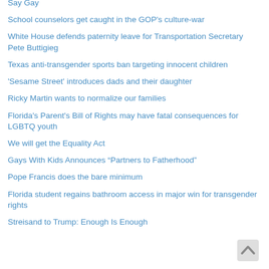Say Gay
School counselors get caught in the GOP's culture-war
White House defends paternity leave for Transportation Secretary Pete Buttigieg
Texas anti-transgender sports ban targeting innocent children
'Sesame Street' introduces dads and their daughter
Ricky Martin wants to normalize our families
Florida's Parent's Bill of Rights may have fatal consequences for LGBTQ youth
We will get the Equality Act
Gays With Kids Announces “Partners to Fatherhood”
Pope Francis does the bare minimum
Florida student regains bathroom access in major win for transgender rights
Streisand to Trump: Enough Is Enough